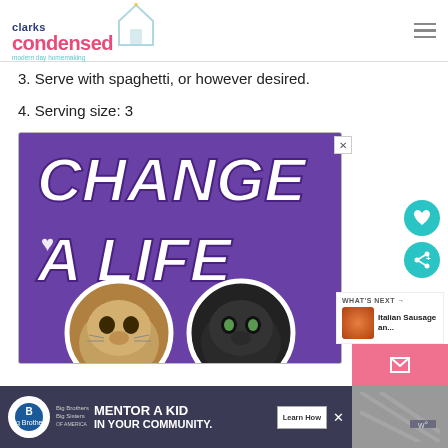clarks condensed — modern day homemaking
3. Serve with spaghetti, or however desired.
4. Serving size: 3
[Figure (advertisement): Purple advertisement banner with white bold text reading CHANGE A LIFE with a heart icon and two cat photos (tabby and black cat) at the bottom]
[Figure (advertisement): Big Brothers Big Sisters advertisement: MENTOR A KID IN YOUR COMMUNITY. Learn How button]